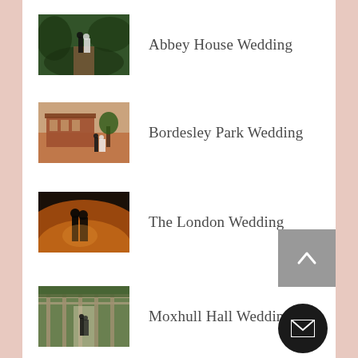Abbey House Wedding
Bordesley Park Wedding
The London Wedding
Moxhull Hall Wedding